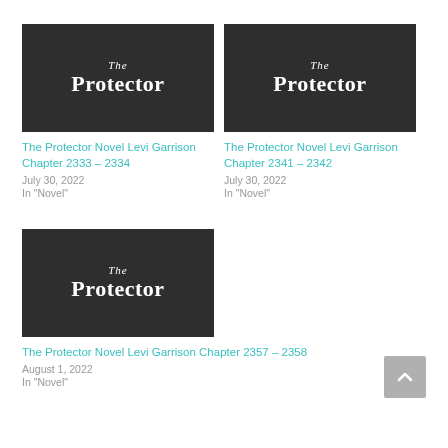[Figure (illustration): Book cover image with dark background showing 'The Protector' text in white serif font]
The Protector Novel Levi Garrison Chapter 2333 – 2334
July 30, 2022
In "Novel"
[Figure (illustration): Book cover image with dark background showing 'The Protector' text in white serif font]
The Protector Novel Levi Garrison Chapter 2341 – 2342
July 30, 2022
In "Novel"
[Figure (illustration): Book cover image with dark background showing 'The Protector' text in white serif font]
The Protector Novel Levi Garrison Chapter 2357 – 2358
August 1, 2022
In "Novel"